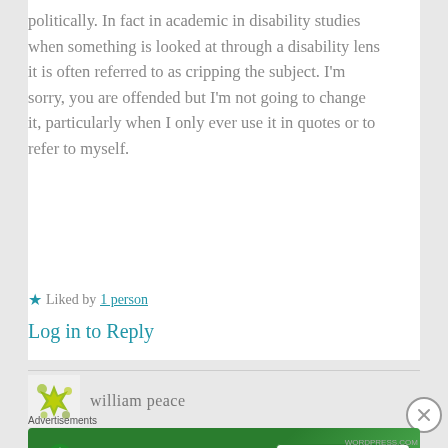politically. In fact in academic in disability studies when something is looked at through a disability lens it is often referred to as cripping the subject. I'm sorry, you are offended but I'm not going to change it, particularly when I only ever use it in quotes or to refer to myself.
★ Liked by 1 person
Log in to Reply
william peace
[Figure (screenshot): Jetpack advertisement banner with 'Back up your site' button on green background]